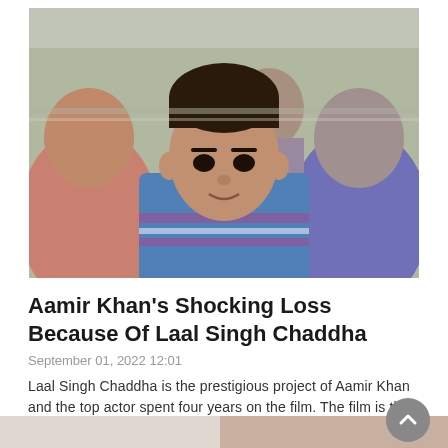[Figure (photo): A man wearing a blue striped t-shirt sitting among other people, appearing to be on a bus or in a crowded setting. He is looking at the camera. Other people in pink and purple shirts are visible in the background.]
Aamir Khan's Shocking Loss Because Of Laal Singh Chaddha
September 01, 2022 12:01
Laal Singh Chaddha is the prestigious project of Aamir Khan and the top actor spent four years on the film. The film is the remake of
Read More »